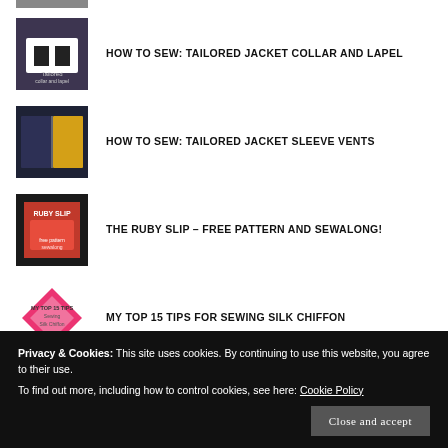[Figure (photo): Partially visible thumbnail image at the top, cropped]
HOW TO SEW: TAILORED JACKET COLLAR AND LAPEL
HOW TO SEW: TAILORED JACKET SLEEVE VENTS
THE RUBY SLIP – FREE PATTERN AND SEWALONG!
MY TOP 15 TIPS FOR SEWING SILK CHIFFON
Privacy & Cookies: This site uses cookies. By continuing to use this website, you agree to their use.
To find out more, including how to control cookies, see here: Cookie Policy
PRE-WASHING FABRIC: IS IT REALLY NECESSARY?